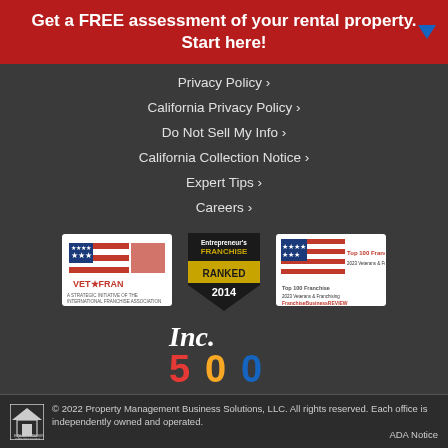Get a FREE assessment of your rental property. Start here!
Privacy Policy ›
California Privacy Policy ›
Do Not Sell My Info ›
California Collection Notice ›
Expert Tips ›
Careers ›
[Figure (logo): VET★FRAN logo - A Strategic Initiative of the International Franchise Association]
[Figure (logo): Entrepreneur's Franchise 500 Ranked 2014 badge]
[Figure (logo): Top 100 Franchise 2023 Veterans & Franchising - Franchise Business Review]
[Figure (logo): Inc. 500 logo in red, yellow, and blue]
© 2022 Property Management Business Solutions, LLC. All rights reserved. Each office is independently owned and operated. ADA Notice